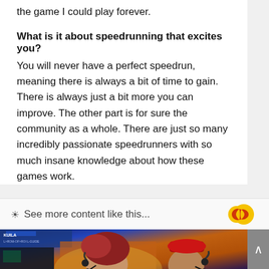the game I could play forever.
What is it about speedrunning that excites you?
You will never have a perfect speedrun, meaning there is always a bit of time to gain. There is always just a bit more you can improve. The other part is for sure the community as a whole. There are just so many incredibly passionate speedrunners with so much insane knowledge about how these games work.
📷 See more content like this...
[Figure (photo): Two men at gaming stations with headsets and microphones, smiling, at what appears to be a gaming event with colorful backlit displays. One has curly red hair; the other wears a red cap with a Red Bull logo.]